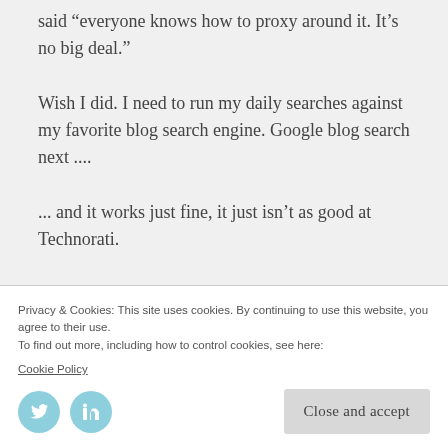said “everyone knows how to proxy around it. It’s no big deal.”
Wish I did. I need to run my daily searches against my favorite blog search engine. Google blog search next ....
... and it works just fine, it just isn’t as good at Technorati.
Wikipedia is dead too.
Privacy & Cookies: This site uses cookies. By continuing to use this website, you agree to their use.
To find out more, including how to control cookies, see here: Cookie Policy